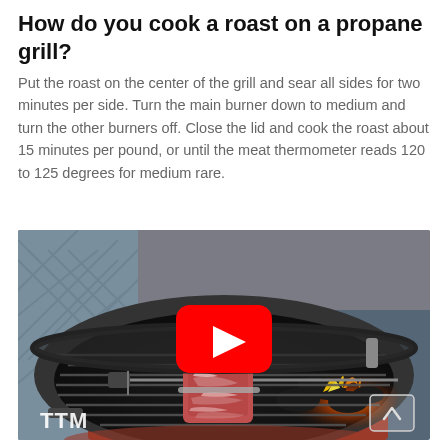How do you cook a roast on a propane grill?
Put the roast on the center of the grill and sear all sides for two minutes per side. Turn the main burner down to medium and turn the other burners off. Close the lid and cook the roast about 15 minutes per pound, or until the meat thermometer reads 120 to 125 degrees for medium rare.
[Figure (photo): A YouTube video thumbnail showing a piece of raw meat on a rotisserie spit over a charcoal grill with glowing coals and flames. The grill is a round kettle-style barbecue. A YouTube play button overlay is centered on the image. Text 'TTM' appears in the lower left corner. A scroll-to-top arrow button appears in the lower right.]